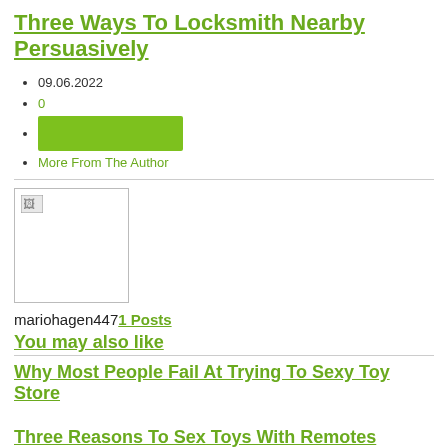Three Ways To Locksmith Nearby Persuasively
09.06.2022
0
[green button]
More From The Author
[Figure (photo): Broken/missing image placeholder box]
mariohagen447 1 Posts
You may also like
Why Most People Fail At Trying To Sexy Toy Store
Three Reasons To Sex Toys With Remotes